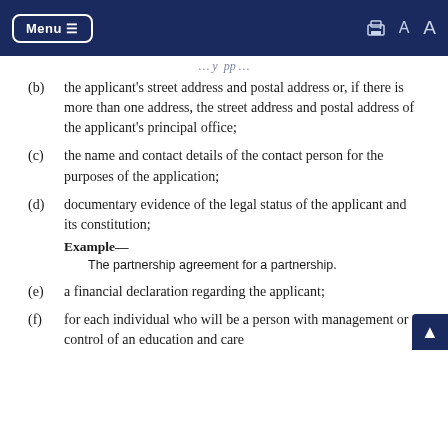Menu (navigation bar with print and font size icons)
(b) the applicant's street address and postal address or, if there is more than one address, the street address and postal address of the applicant's principal office;
(c) the name and contact details of the contact person for the purposes of the application;
(d) documentary evidence of the legal status of the applicant and its constitution;
Example—
The partnership agreement for a partnership.
(e) a financial declaration regarding the applicant;
(f) for each individual who will be a person with management or control of an education and care